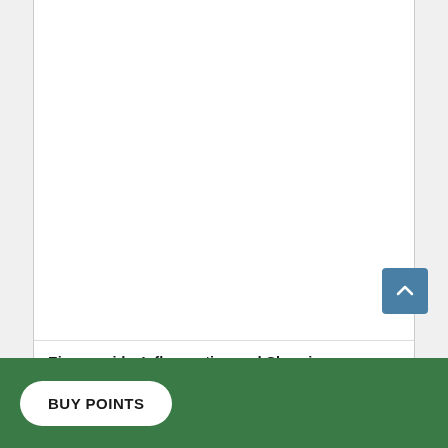[Figure (other): White document/page area — blank upper portion of a web page showing a document viewer]
Eicosanoids, Inflammation and Chronic Inflammatory Diseases: Pathophysiology, Health
BUY POINTS